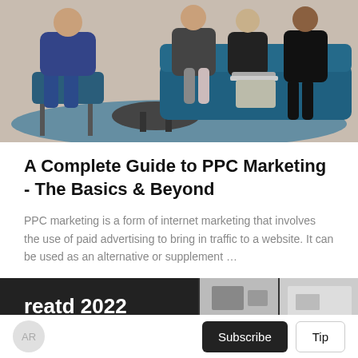[Figure (photo): Group of people sitting on chairs and a couch in an office or lounge setting, having a discussion. Blue couch visible, laptop on one person's lap.]
A Complete Guide to PPC Marketing - The Basics & Beyond
PPC marketing is a form of internet marketing that involves the use of paid advertising to bring in traffic to a website. It can be used as an alternative or supplement …
AR
Avijit Ray
3 months ago in Journal
[Figure (photo): Bottom banner with dark background showing 'reatd 2022' text on left and two partial photos on the right side showing a person.]
AR   Subscribe   Tip